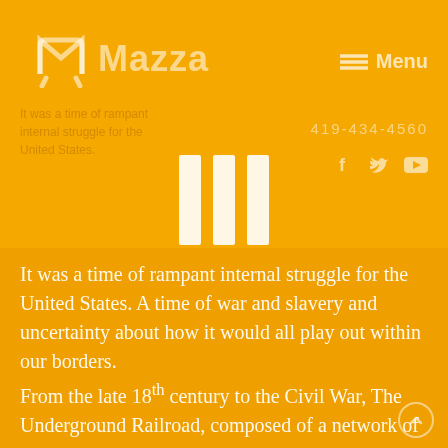Mazza
Menu
419-434-4560
[Figure (other): Three white vertical bars forming a pause/menu icon centered on page]
It was a time of rampant internal struggle for the United States. A time of war and slavery and uncertainty about how it would all play out within our borders.
From the late 18th century to the Civil War, The Underground Railroad, composed of a network of